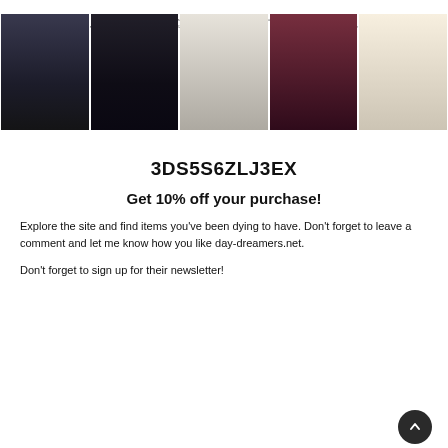[Figure (photo): Banner with small text header and five fashion photos of women in various outfits: dark coat, black outfit, white cardigan with blue top, red dress, and cream sweater.]
3DS5S6ZLJ3EX
Get 10% off your purchase!
Explore the site and find items you've been dying to have. Don't forget to leave a comment and let me know how you like day-dreamers.net.
Don't forget to sign up for their newsletter!